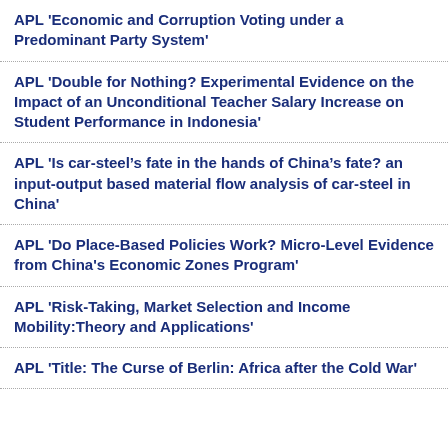APL 'Economic and Corruption Voting under a Predominant Party System'
APL 'Double for Nothing? Experimental Evidence on the Impact of an Unconditional Teacher Salary Increase on Student Performance in Indonesia'
APL 'Is car-steel’s fate in the hands of China’s fate? an input-output based material flow analysis of car-steel in China'
APL 'Do Place-Based Policies Work? Micro-Level Evidence from China's Economic Zones Program'
APL 'Risk-Taking, Market Selection and Income Mobility:Theory and Applications'
APL 'Title: The Curse of Berlin: Africa after the Cold War'